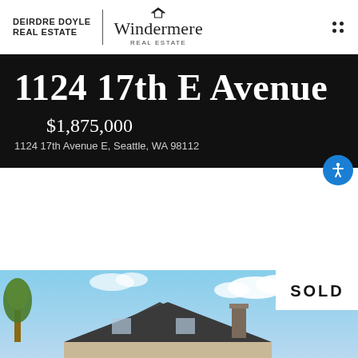DEIRDRE DOYLE REAL ESTATE | Windermere REAL ESTATE
1124 17th E Avenue
$1,875,000
1124 17th Avenue E, Seattle, WA 98112
[Figure (photo): Exterior photo of a craftsman-style home at 1124 17th Avenue E, Seattle, with a 'SOLD' badge overlay in the upper right corner. Sky is blue with clouds visible behind trees.]